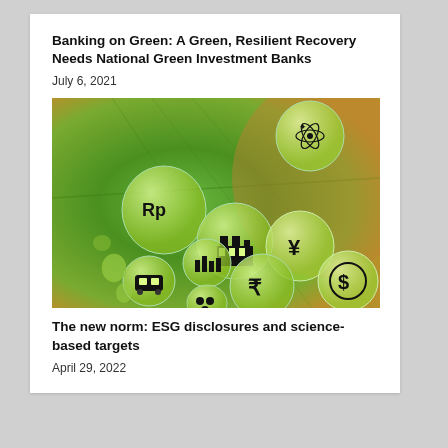Banking on Green: A Green, Resilient Recovery Needs National Green Investment Banks
July 6, 2021
[Figure (photo): Close-up photograph of a green leaf with water droplets containing financial and industry icons such as currency symbols (Rp, ¥, rupee, dollar), a factory, buildings, a train, and an atom symbol.]
The new norm: ESG disclosures and science-based targets
April 29, 2022